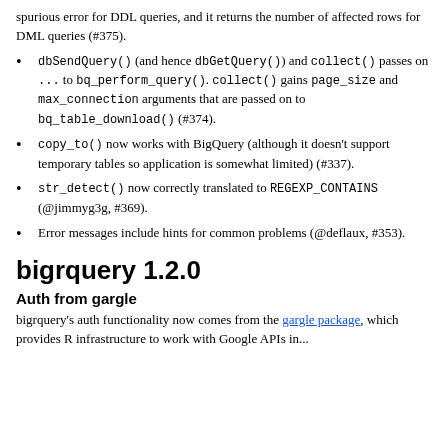spurious error for DDL queries, and it returns the number of affected rows for DML queries (#375).
dbSendQuery() (and hence dbGetQuery()) and collect() passes on ... to bq_perform_query(). collect() gains page_size and max_connection arguments that are passed on to bq_table_download() (#374).
copy_to() now works with BigQuery (although it doesn't support temporary tables so application is somewhat limited) (#337).
str_detect() now correctly translated to REGEXP_CONTAINS (@jimmyg3g, #369).
Error messages include hints for common problems (@deflaux, #353).
bigrquery 1.2.0
Auth from gargle
bigrquery's auth functionality now comes from the gargle package, which provides R infrastructure to work with Google APIs in...